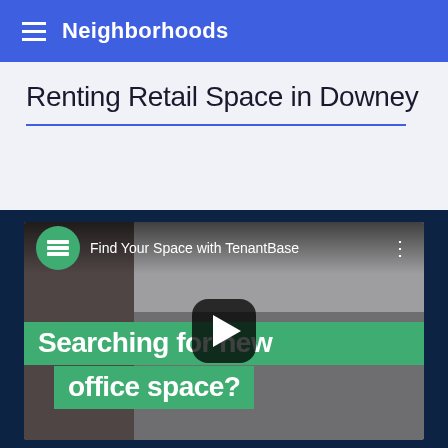Neighborhoods
Renting Retail Space in Downey
[Figure (screenshot): YouTube video thumbnail for 'Find Your Space with TenantBase' showing text 'Searching for new office space?' with a play button overlay, on a background of a person working at a desk.]